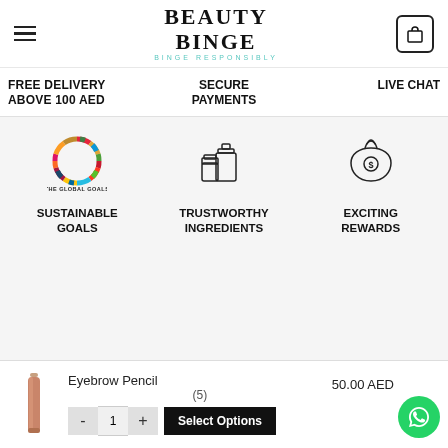BEAUTY BINGE — BINGE RESPONSIBLY
FREE DELIVERY ABOVE 100 AED | SECURE PAYMENTS | LIVE CHAT
[Figure (logo): The Global Goals colorful circle logo]
SUSTAINABLE GOALS
[Figure (illustration): Cosmetics/ingredients bottle icon]
TRUSTWORTHY INGREDIENTS
[Figure (illustration): Money bag with dollar sign icon]
EXCITING REWARDS
Eyebrow Pencil
(5)
50.00 AED
Select Options